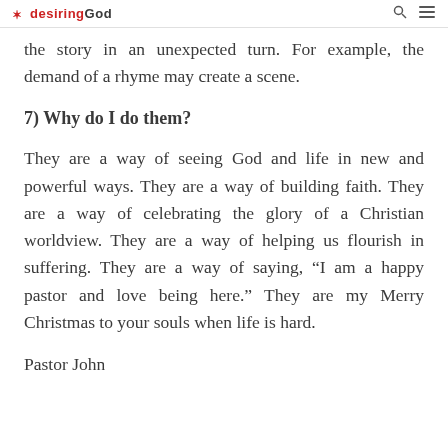desiring God
the story in an unexpected turn. For example, the demand of a rhyme may create a scene.
7) Why do I do them?
They are a way of seeing God and life in new and powerful ways. They are a way of building faith. They are a way of celebrating the glory of a Christian worldview. They are a way of helping us flourish in suffering. They are a way of saying, “I am a happy pastor and love being here.” They are my Merry Christmas to your souls when life is hard.
Pastor John